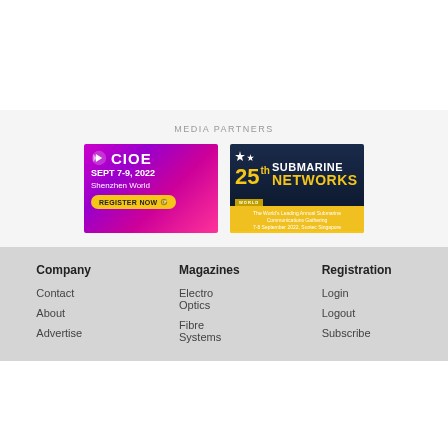MEDIA PARTNERS
[Figure (photo): CIOE conference banner: SEPT 7-9, 2022 Shenzhen World, REGISTER NOW button, pink/purple gradient background]
[Figure (photo): 25th Submarine Networks WORLD banner: The World's Leading Annual Submarine Communications Gathering, 7-8 September 2022, Suntec Singapore, 10% off. Use code FS10]
Company
Magazines
Registration
Contact
Electro Optics
Login
About
Fibre Systems
Logout
Advertise
Subscribe